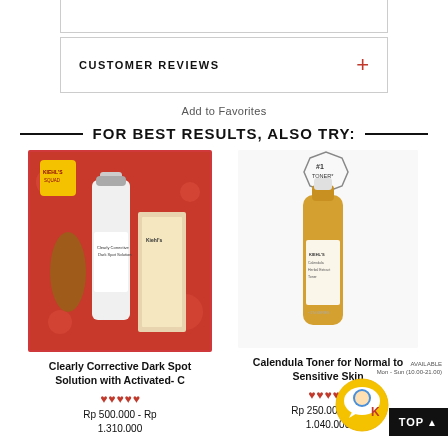CUSTOMER REVIEWS
Add to Favorites
FOR BEST RESULTS, ALSO TRY:
[Figure (photo): Clearly Corrective Dark Spot Solution with Activated-C product image with Indonesian-themed decorative border]
[Figure (photo): Calendula Toner for Normal to Sensitive Skin product image with #1 Toner badge]
Clearly Corrective Dark Spot Solution with Activated- C
Calendula Toner for Normal to Sensitive Skin
Rp 500.000 - Rp 1.310.000
Rp 250.000 - Rp 1.040.000